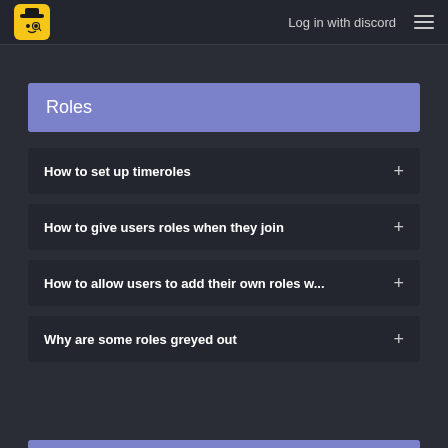Log in with discord
Roles
How to set up timeroles
How to give users roles when they join
How to allow users to add their own roles w...
Why are some roles greyed out